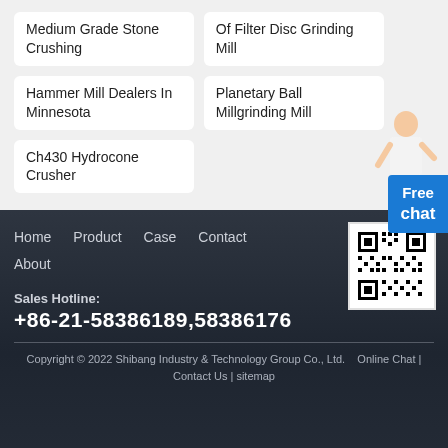Medium Grade Stone Crushing
Of Filter Disc Grinding Mill
Hammer Mill Dealers In Minnesota
Planetary Ball Millgrinding Mill
Ch430 Hydrocone Crusher
Home  Product  Case  Contact  About
Sales Hotline:
+86-21-58386189,58386176
Copyright © 2022 Shibang Industry & Technology Group Co., Ltd.  Online Chat | Contact Us | sitemap